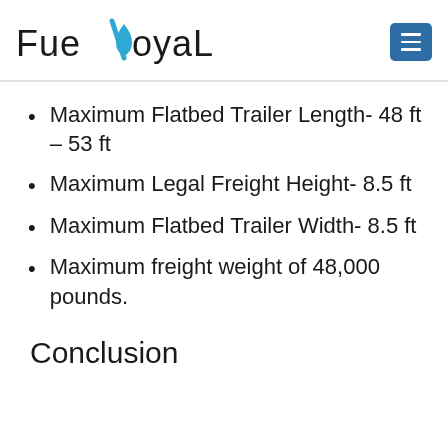FueLoyaL
Maximum Flatbed Trailer Length- 48 ft – 53 ft
Maximum Legal Freight Height- 8.5 ft
Maximum Flatbed Trailer Width- 8.5 ft
Maximum freight weight of 48,000 pounds.
Conclusion